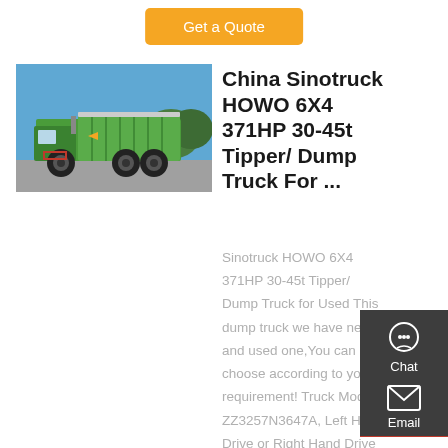Get a Quote
[Figure (photo): Green Sinotruck HOWO 6X4 dump truck parked outdoors against a blue sky background]
China Sinotruck HOWO 6X4 371HP 30-45t Tipper/ Dump Truck For ...
Sinotruck HOWO 6X4 371HP 30-45t Tipper/ Dump Truck for Used This dump truck we have new and used one,You can choose according to your requirement! Truck Model ZZ3257N3647A, Left Hand Drive or Right Hand Drive model Truck Brand SINOTRUK HOWO
Chat
Email
Contact
Top